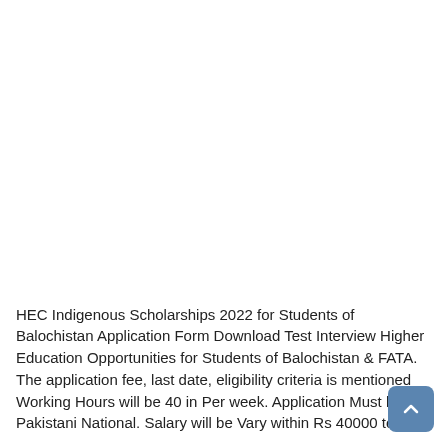HEC Indigenous Scholarships 2022 for Students of Balochistan Application Form Download Test Interview Higher Education Opportunities for Students of Balochistan & FATA. The application fee, last date, eligibility criteria is mentioned Working Hours will be 40 in Per week. Application Must be Pakistani National. Salary will be Vary within Rs 40000 to Rs